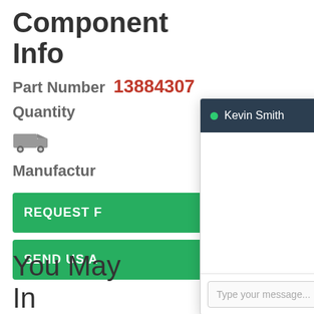Component Info
Part Number  13884307
Quantity
Manufactur
REQUEST F
SEND US A
You May
In
[Figure (screenshot): Chat widget overlay showing agent Kevin Smith with green online indicator, empty chat body, and message input field with placeholder 'Type your message...']